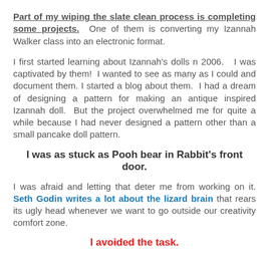Part of my wiping the slate clean process is completing some projects. One of them is converting my Izannah Walker class into an electronic format.
I first started learning about Izannah's dolls n 2006. I was captivated by them! I wanted to see as many as I could and document them. I started a blog about them. I had a dream of designing a pattern for making an antique inspired Izannah doll. But the project overwhelmed me for quite a while because I had never designed a pattern other than a small pancake doll pattern.
I was as stuck as Pooh bear in Rabbit's front door.
I was afraid and letting that deter me from working on it. Seth Godin writes a lot about the lizard brain that rears its ugly head whenever we want to go outside our creativity comfort zone.
I avoided the task.